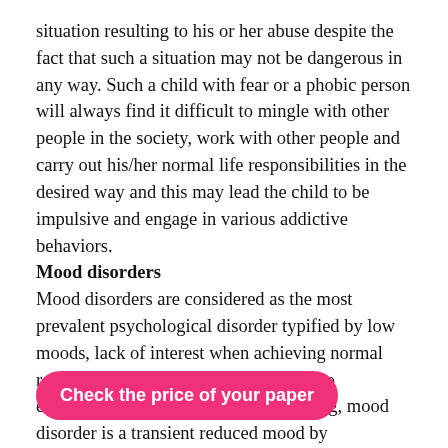situation resulting to his or her abuse despite the fact that such a situation may not be dangerous in any way. Such a child with fear or a phobic person will always find it difficult to mingle with other people in the society, work with other people and carry out his/her normal life responsibilities in the desired way and this may lead the child to be impulsive and engage in various addictive behaviors.
Mood disorders
Mood disorders are considered as the most prevalent psychological disorder typified by low moods, lack of interest when achieving normal responsibilities and declined potential to experience contentment. In real meaning, mood disorder is a transient reduced mood by individuals when they disorders can easily ical depression
Check the price of your paper